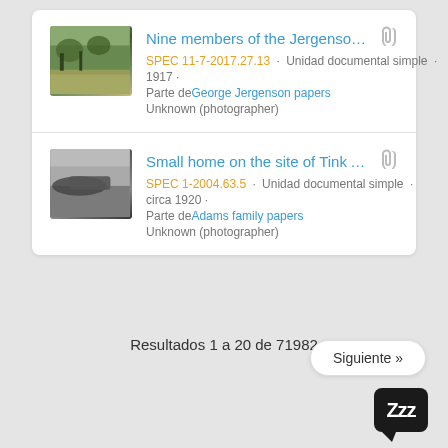[Figure (photo): Thumbnail photo of nine members of the Jergenson family outdoors, vintage black and white/sepia tone]
Nine members of the Jergenson fa... 
SPEC 11-7-2017.27.13 · Unidad documental simple · 1917 ·
Parte de George Jergenson papers
Unknown (photographer)
[Figure (photo): Thumbnail photo of a small home on the site of Tink Ada, black and white vintage photograph]
Small home on the site of Tink Ada...
SPEC 1-2004.63.5 · Unidad documental simple · circa 1920 ·
Parte de Adams family papers
Unknown (photographer)
Resultados 1 a 20 de 71982
Siguiente »